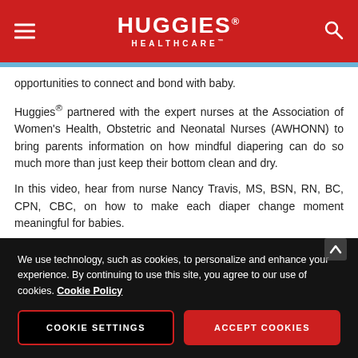HUGGIES HEALTHCARE
opportunities to connect and bond with baby.
Huggies® partnered with the expert nurses at the Association of Women's Health, Obstetric and Neonatal Nurses (AWHONN) to bring parents information on how mindful diapering can do so much more than just keep their bottom clean and dry.
In this video, hear from nurse Nancy Travis, MS, BSN, RN, BC, CPN, CBC, on how to make each diaper change moment meaningful for babies.
We use technology, such as cookies, to personalize and enhance your experience. By continuing to use this site, you agree to our use of cookies. Cookie Policy
COOKIE SETTINGS
ACCEPT COOKIES